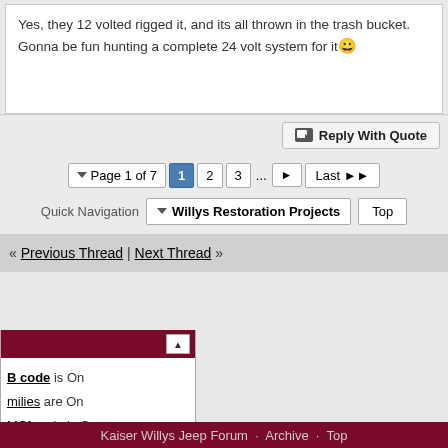Yes, they 12 volted rigged it, and its all thrown in the trash bucket. Gonna be fun hunting a complete 24 volt system for it 🙂
Reply With Quote
◄ Page 1 of 7  1  2  3  ...  ►  Last ▶▶
Quick Navigation  ▼ Willys Restoration Projects  Top
« Previous Thread | Next Thread »
BB code is On
Smilies are On
[IMG] code is On
[VIDEO] code is Off
HTML code is Off
Forum Rules
Kaiser Willys Jeep Forum  Archive  Top